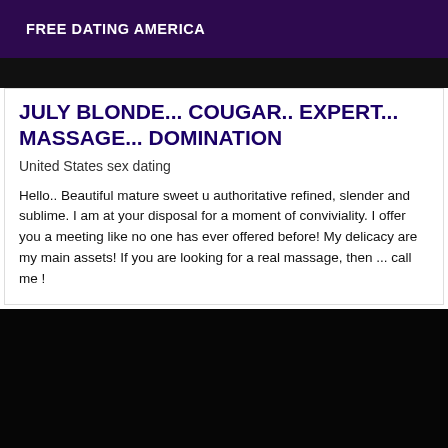FREE DATING AMERICA
[Figure (photo): Dark/black image strip at top of content card]
JULY BLONDE... COUGAR.. EXPERT... MASSAGE... DOMINATION
United States sex dating
Hello.. Beautiful mature sweet u authoritative refined, slender and sublime. I am at your disposal for a moment of conviviality. I offer you a meeting like no one has ever offered before! My delicacy are my main assets! If you are looking for a real massage, then ... call me !
[Figure (photo): Large dark/black image at bottom of page]